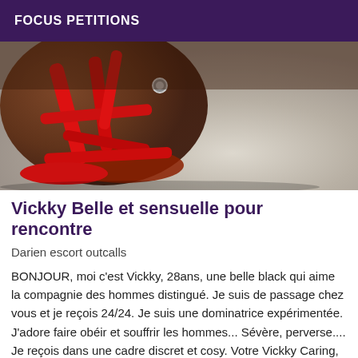FOCUS PETITIONS
[Figure (photo): Close-up photo of red strappy high-heeled sandals on a fluffy white/grey carpet, with dark-skinned legs visible]
Vickky Belle et sensuelle pour rencontre
Darien escort outcalls
BONJOUR, moi c'est Vickky, 28ans, une belle black qui aime la compagnie des hommes distingué. Je suis de passage chez vous et je reçois 24/24. Je suis une dominatrice expérimentée. J'adore faire obéir et souffrir les hommes... Sévère, perverse.... Je reçois dans une cadre discret et cosy. Votre Vickky Caring, chaleureuse,